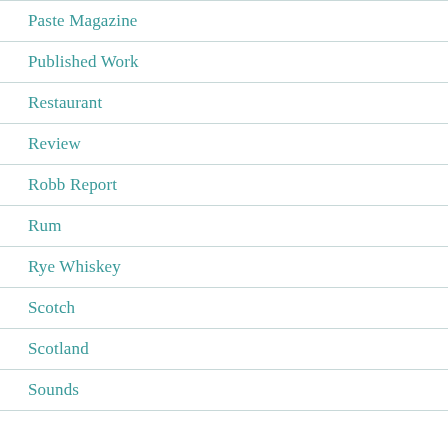Paste Magazine
Published Work
Restaurant
Review
Robb Report
Rum
Rye Whiskey
Scotch
Scotland
Sounds